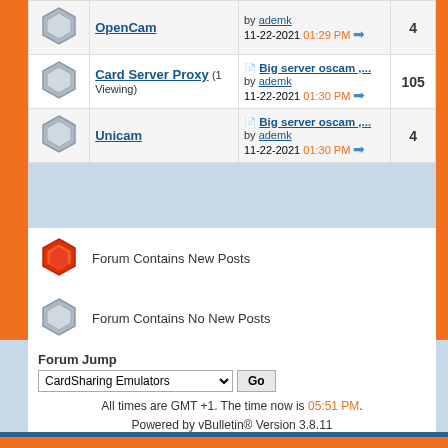| Icon | Forum | Last Post | Threads |
| --- | --- | --- | --- |
| [hex] | OpenCam | by ademk 11-22-2021 01:29 PM | 4 |
| [hex] | Card Server Proxy (1 Viewing) | Big server oscam ,... by ademk 11-22-2021 01:30 PM | 105 |
| [hex] | Unicam | Big server oscam ,... by ademk 11-22-2021 01:30 PM | 4 |
[Figure (illustration): Orange hexagon icon - Forum Contains New Posts]
Forum Contains New Posts
[Figure (illustration): Gray hexagon icon - Forum Contains No New Posts]
Forum Contains No New Posts
Forum Jump
CardSharing Emulators
All times are GMT +1. The time now is 05:51 PM.
Powered by vBulletin® Version 3.8.11 Copyright ©2000 - 2022, vBulletin Solutions Inc.
Contact Us - Sat sharing IPTV Forum, Dreambox,IPTV, High definition TV, 3D TV,CCcam, Gbos, Servers, Exchange, TV Mobile Top